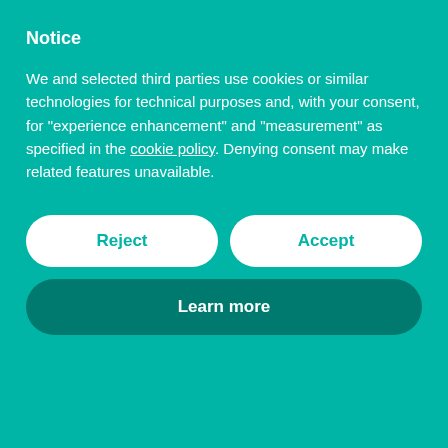Notice
We and selected third parties use cookies or similar technologies for technical purposes and, with your consent, for “experience enhancement” and “measurement” as specified in the cookie policy. Denying consent may make related features unavailable.
Reject
Accept
Learn more
anyway. Astrologer Lisa Mendes says:
"Over the next 18 months or so, expect the spotlight to move from family dynamics and childhood traumas and wounds, to fall on how we make decisions and/or moral calls (faith vs reason) and discern fact from fiction when it comes to navigating the Information Age. Do we truly think logically when we make